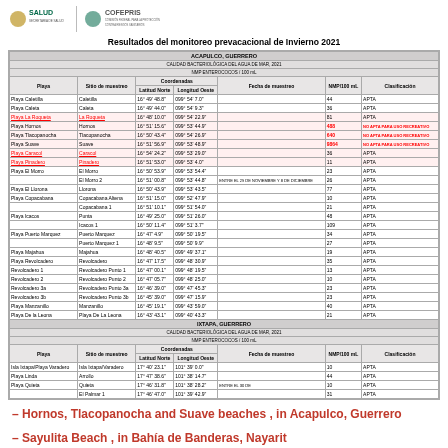[Figure (logo): SALUD Secretaría de Salud and COFEPRIS logos]
Resultados del monitoreo prevacacional de Invierno 2021
| Playa | Sitio de muestreo | Latitud Norte | Longitud Oeste | Fecha de muestreo | NMP/100 mL | Clasificación |
| --- | --- | --- | --- | --- | --- | --- |
| Playa Caletilla | Caletilla | 16° 49' 48.8" | 099° 54' 7.0" |  | 44 | APTA |
| Playa Caleta | Caleta | 16° 49' 44.0" | 099° 54' 9.3" |  | 36 | APTA |
| Playa La Roqueta | La Roqueta | 16° 48' 10.0" | 099° 54' 22.9" |  | 81 | APTA |
| Playa Hornos | Hornos | 16° 51' 15.6" | 099° 53' 44.9" |  | 488 | NO APTA PARA USO RECREATIVO |
| Playa Tlacopanocha | Tlacopanocha | 16° 50' 43.4" | 099° 54' 26.9" |  | 640 | NO APTA PARA USO RECREATIVO |
| Playa Suave | Suave | 16° 51' 56.9" | 099° 53' 48.9" |  | 9864 | NO APTA PARA USO RECREATIVO |
| Playa Caracol | Caracol | 16° 54' 24.2" | 099° 53' 29.0" |  | 36 | APTA |
| Playa Pinadero | Pinadero | 16° 51' 53.0" | 099° 53' 4.0" |  | 11 | APTA |
| Playa El Morro | El Morro | 16° 50' 53.9" | 099° 53' 54.4" |  | 23 | APTA |
|  | El Morro 2 | 16° 51' 00.8" | 099° 53' 44.8" | ENTRE EL 29 DE NOVIEMBRE Y 8 DE DICIEMBRE | 26 | APTA |
| Playa El Llorona | Llorona | 16° 50' 43.9" | 099° 53' 43.5" |  | 77 | APTA |
| Playa Copacabana | Copacabana Altena | 16° 51' 15.0" | 099° 52' 47.9" |  | 10 | APTA |
|  | Copacabana 1 | 16° 51' 10.1" | 099° 51' 54.0" |  | 21 | APTA |
| Playa Icacos | Punta | 16° 49' 25.0" | 099° 51' 26.0" |  | 48 | APTA |
|  | Icacos 1 | 16° 50' 11.4" | 099° 51' 3.7" |  | 109 | APTA |
| Playa Puerto Marquez | Puerto Marquez | 16° 47' 4.9" | 099° 50' 19.5" |  | 34 | APTA |
|  | Puerto Marquez 1 | 16° 48' 9.5" | 099° 50' 9.9" |  | 27 | APTA |
| Playa Majahua | Majahua | 16° 48' 40.5" | 099° 49' 37.1" |  | 19 | APTA |
| Playa Revolcadero | Revolcadero | 16° 47' 17.5" | 099° 48' 30.9" |  | 35 | APTA |
| Revolcadero 1 | Revolcadero Punto 1 | 16° 47' 00.1" | 099° 48' 19.5" |  | 13 | APTA |
| Revolcadero 2 | Revolcadero Punto 2 | 16° 47' 05.7" | 099° 48' 25.0" |  | 10 | APTA |
| Revolcadero 3a | Revolcadero Punto 3a | 16° 46' 39.0" | 099° 47' 45.3" |  | 23 | APTA |
| Revolcadero 3b | Revolcadero Punto 3b | 16° 45' 39.0" | 099° 47' 15.9" |  | 23 | APTA |
| Playa Manzanillo | Manzanillo | 16° 45' 19.1" | 099° 43' 59.0" |  | 40 | APTA |
| Playa De la Leona | Playa De La Leona | 16° 43' 43.1" | 099° 40' 43.3" |  | 21 | APTA |
| Playa | Sitio de muestreo | Latitud Norte | Longitud Oeste | Fecha de muestreo | NMP/100 mL | Clasificación |
| --- | --- | --- | --- | --- | --- | --- |
| Isla Ixtapa/Playa Varadero | Isla Ixtapa/Varadero | 17° 40' 23.1" | 101° 39' 0.0" |  | 10 | APTA |
| Playa Linda | Arrollo | 17° 47' 38.6" | 101° 38' 14.7" |  | 44 | APTA |
| Playa Quieta | Quieta | 17° 46' 31.8" | 101° 38' 28.2" | ENTRE EL 30 DE | 10 | APTA |
|  | El Palmar 1 | 17° 46' 47.0" | 101° 39' 42.9" |  | 31 | APTA |
– Hornos, Tlacopanocha and Suave beaches , in Acapulco, Guerrero
– Sayulita Beach , in Bahía de Banderas, Nayarit